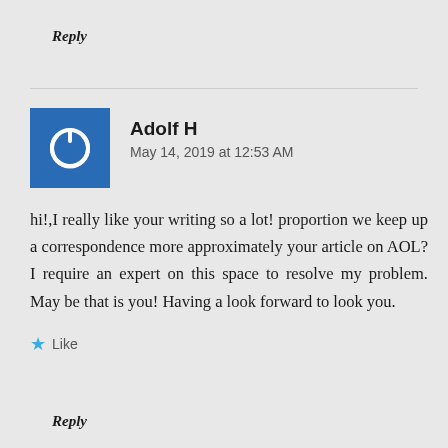Reply
[Figure (other): User avatar icon — blue square with white power/circle symbol]
Adolf H
May 14, 2019 at 12:53 AM
hi!,I really like your writing so a lot! proportion we keep up a correspondence more approximately your article on AOL? I require an expert on this space to resolve my problem. May be that is you! Having a look forward to look you.
Like
Reply